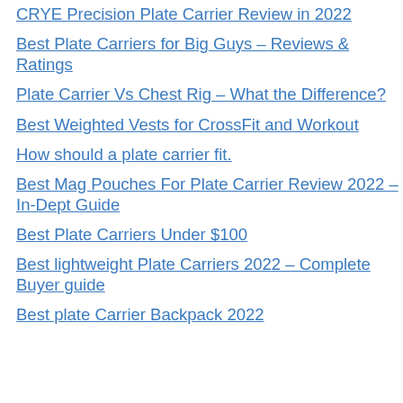CRYE Precision Plate Carrier Review in 2022
Best Plate Carriers for Big Guys – Reviews & Ratings
Plate Carrier Vs Chest Rig – What the Difference?
Best Weighted Vests for CrossFit and Workout
How should a plate carrier fit.
Best Mag Pouches For Plate Carrier Review 2022 – In-Dept Guide
Best Plate Carriers Under $100
Best lightweight Plate Carriers 2022 – Complete Buyer guide
Best plate Carrier Backpack 2022